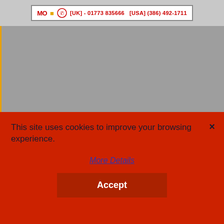[Figure (logo): Website header logo with phone numbers: [UK] - 01773 835666 and [USA] (386) 492-1711]
[Figure (photo): Gray content area with orange-yellow left border, partially obscured by cookie consent overlay]
This site uses cookies to improve your browsing experience.
More Details
Accept